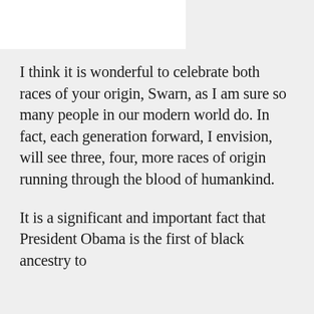[Figure (photo): Circular avatar photo of a person, partially visible at top left of the page]
I think it is wonderful to celebrate both races of your origin, Swarn, as I am sure so many people in our modern world do. In fact, each generation forward, I envision, will see three, four, more races of origin running through the blood of humankind.
It is a significant and important fact that President Obama is the first of black ancestry to